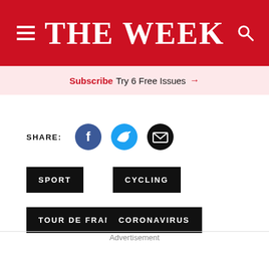THE WEEK
Subscribe Try 6 Free Issues →
SHARE:
SPORT
CYCLING
TOUR DE FRANCE
CORONAVIRUS
Advertisement